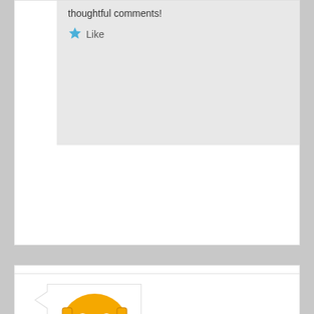thoughtful comments!
Like
[Figure (screenshot): KaXtone.com logo — stylized lion/robot head in yellow/orange with circuit-board pattern, with script text 'KaXtone' and 'Knowledge Base Junction' below]
samohankakkar on January 10, 2013 at 9:42 am said:
Reblogged this on KaXtone.com and commented:
Hmm…
Literature….
Like
Reply ↓